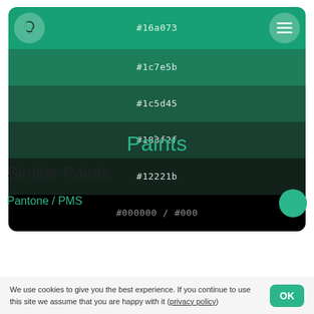[Figure (infographic): Color palette card showing six shades of green to black: #16a073, #1c7e5b, #1c5d45, #183f2f, #12221b, #000000/#000. Has a light bulb icon button on top-left and hamburger menu icon on top-right.]
Paints
Similar Paints
Pantone / PMS
We use cookies to give you the best experience. If you continue to use this site we assume that you are happy with it (privacy policy)